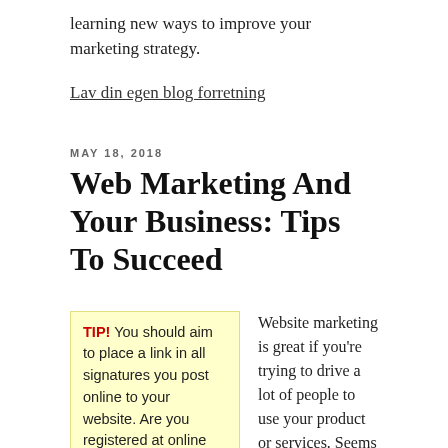learning new ways to improve your marketing strategy.
Lav din egen blog forretning
MAY 18, 2018
Web Marketing And Your Business: Tips To Succeed
TIP! You should aim to place a link in all signatures you post online to your website. Are you registered at online forums? Add your site to your signature, so that people can see it
Website marketing is great if you're trying to drive a lot of people to use your product or services. Seems like today that always everyone is using the Internet in some way or another. Soon children won't even know that the yellow pages once